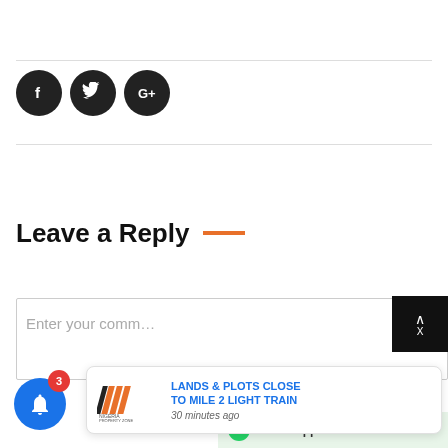[Figure (infographic): Social share buttons: Facebook, Twitter, Google+ as black circular icons]
Leave a Reply
Enter your comment...
[Figure (infographic): Popup notification: Nigeria Property Zone logo with text 'LANDS & PLOTS CLOSE TO MILE 2 LIGHT TRAIN' and '30 minutes ago']
[Figure (infographic): Blue notification bell with badge showing 3, WhatsApp us button]